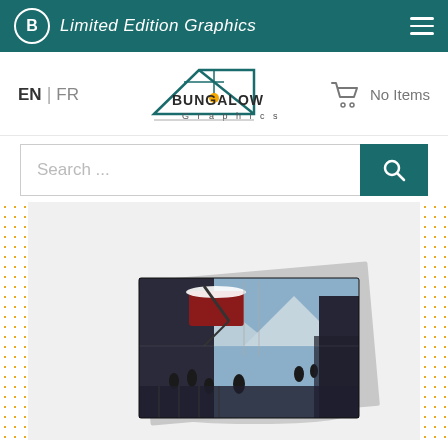Limited Edition Graphics
EN | FR
[Figure (logo): Bungalow Graphics logo with stylized angular roof shape and orange dot]
No Items
Search ...
[Figure (photo): Greeting card mockup showing a dark science fiction or fantasy scene with figures on a snowy platform or airship with mountains in the background, rendered as a folded card product image]